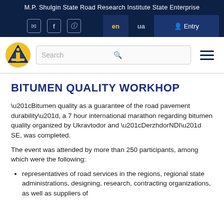M.P. Shulgin State Road Research Institute State Enterprise
BITUMEN QUALITY WORKHOP
“Bitumen quality as a guarantee of the road pavement durability”, a 7 hour international marathon regarding bitumen quality organized by Ukravtodor and “DerzhdorNDI” SE, was completed.
The event was attended by more than 250 participants, among which were the following:
representatives of road services in the regions, regional state administrations, designing, research, contracting organizations, as well as suppliers of